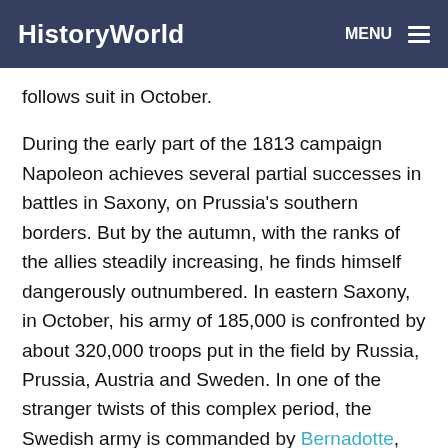HistoryWorld  MENU
follows suit in October.
During the early part of the 1813 campaign Napoleon achieves several partial successes in battles in Saxony, on Prussia's southern borders. But by the autumn, with the ranks of the allies steadily increasing, he finds himself dangerously outnumbered. In eastern Saxony, in October, his army of 185,000 is confronted by about 320,000 troops put in the field by Russia, Prussia, Austria and Sweden. In one of the stranger twists of this complex period, the Swedish army is commanded by Bernadotte, one of Napoleon's own marshals and linked with the Bonaparte family by marriage.
The crucial encounter between France and the allies begins near Leipzig on October 16 and lasts for three